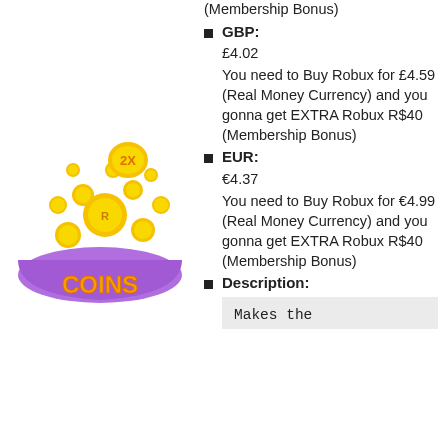[Figure (illustration): 2X Coins logo illustration with gold coins spilling out of a purple bowl, with bold orange text 'COINS' and '2X' label.]
(Membership Bonus)
GBP: £4.02 You need to Buy Robux for £4.59 (Real Money Currency) and you gonna get EXTRA Robux R$40 (Membership Bonus)
EUR: €4.37 You need to Buy Robux for €4.99 (Real Money Currency) and you gonna get EXTRA Robux R$40 (Membership Bonus)
Description:
Makes the